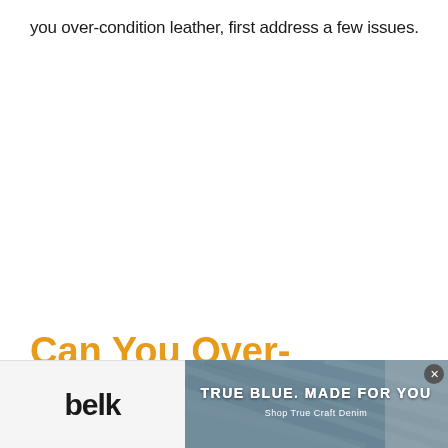you over-condition leather, first address a few issues.
Can You Over-Condition
[Figure (infographic): Belk advertisement banner showing denim fabric background with text TRUE BLUE. MADE FOR YOU and Shop True Craft Denim, with Belk logo on white background on the left]